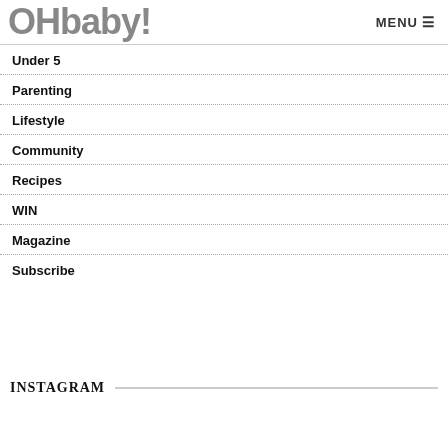OHbaby! MENU
Under 5
Parenting
Lifestyle
Community
Recipes
WIN
Magazine
Subscribe
INSTAGRAM